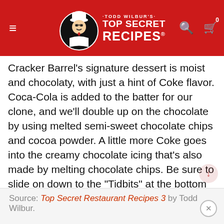Todd Wilbur's Top Secret Recipes
Cracker Barrel's signature dessert is moist and chocolaty, with just a hint of Coke flavor. Coca-Cola is added to the batter for our clone, and we'll double up on the chocolate by using melted semi-sweet chocolate chips and cocoa powder. A little more Coke goes into the creamy chocolate icing that's also made by melting chocolate chips. Be sure to slide on down to the "Tidbits" at the bottom of the recipe for a great way to easily get the cake out of your baking pan in one piece. Make sure you have some milk on hand before you take a bite of out of this decadent Cracker Barrel Double Chocolate Fudge Coca-Cola Cake recipe!
Source: Top Secret Restaurant Recipes 3 by Todd Wilbur.